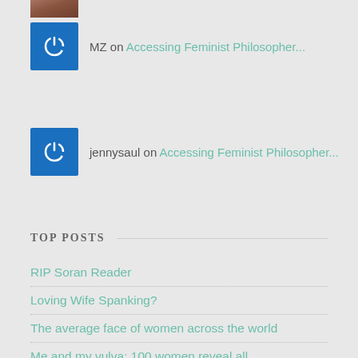[Figure (photo): Small photo of a person at top left]
MZ on Accessing Feminist Philosopher...
jennysaul on Accessing Feminist Philosopher...
TOP POSTS
RIP Soran Reader
Loving Wife Spanking?
The average face of women across the world
Me and my vulva: 100 women reveal all
Jean Harvey, 1947-2014